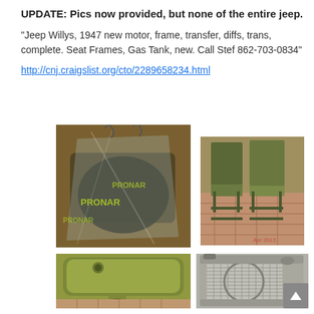UPDATE:  Pics now provided, but none of the entire jeep.
“Jeep Willys, 1947 new motor, frame, transfer, diffs, trans, complete. Seat Frames, Gas Tank, new. Call Stef 862-703-0834”
http://cnj.craigslist.org/cto/2289658234.html
[Figure (photo): Jeep part in plastic packaging/bag, labeled PRONAR]
[Figure (photo): Olive green military-style jeep seat frames on brick floor]
[Figure (photo): Olive green painted gas tank or metal panel, top view]
[Figure (photo): Metal radiator, front view, silver/aluminum]